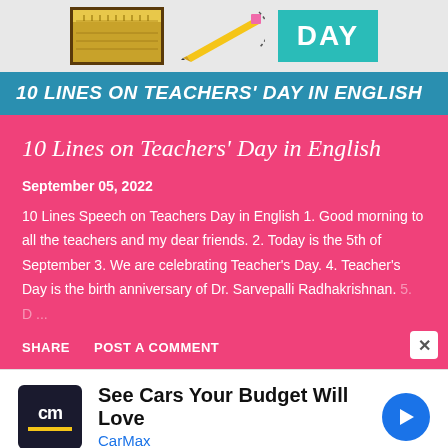[Figure (illustration): Top banner with ruler, pencil, and teal DAY box illustration]
10 LINES ON TEACHERS' DAY IN ENGLISH
10 Lines on Teachers' Day in English
September 05, 2022
10 Lines Speech on Teachers Day in English 1. Good morning to all the teachers and my dear friends. 2. Today is the 5th of September 3. We are celebrating Teacher's Day. 4. Teacher's Day is the birth anniversary of Dr. Sarvepalli Radhakrishnan. 5. D...
SHARE   POST A COMMENT
[Figure (infographic): CarMax advertisement: See Cars Your Budget Will Love, CarMax logo and navigation arrow icon]